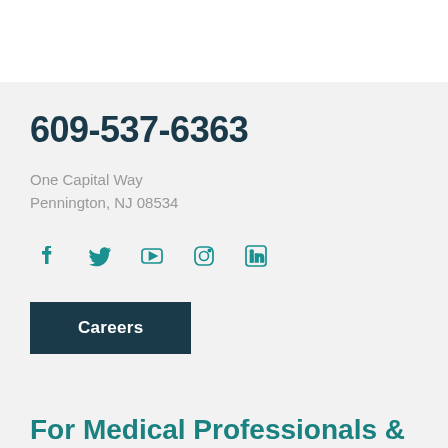609-537-6363
One Capital Way
Pennington, NJ 08534
[Figure (illustration): Row of social media icons: Facebook, Twitter, YouTube, Instagram, LinkedIn — all in teal/dark cyan color]
Careers
For Medical Professionals &